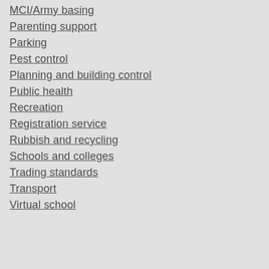MCI/Army basing
Parenting support
Parking
Pest control
Planning and building control
Public health
Recreation
Registration service
Rubbish and recycling
Schools and colleges
Trading standards
Transport
Virtual school